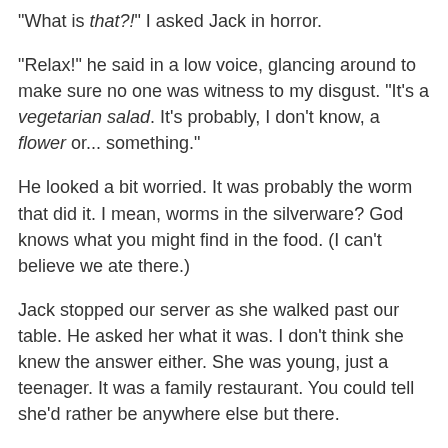"What is that?!" I asked Jack in horror.
"Relax!" he said in a low voice, glancing around to make sure no one was witness to my disgust. "It's a vegetarian salad. It's probably, I don't know, a flower or... something."
He looked a bit worried. It was probably the worm that did it. I mean, worms in the silverware? God knows what you might find in the food. (I can't believe we ate there.)
Jack stopped our server as she walked past our table. He asked her what it was. I don't think she knew the answer either. She was young, just a teenager. It was a family restaurant. You could tell she'd rather be anywhere else but there.
"Oh, that?" she asked. "That's just, um, like... vegetarian... cow stomach."
She walked away and Jack and I just stared at each other.